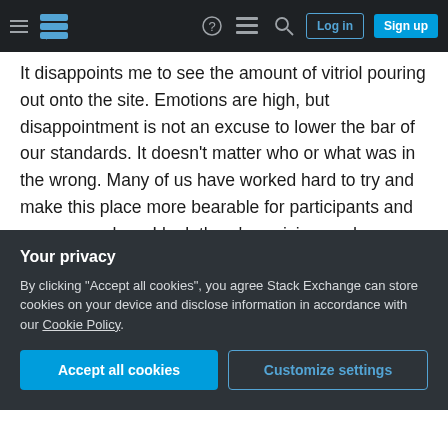Stack Exchange navigation bar with hamburger menu, logo, help, chat, search icons, Log in and Sign up buttons
It disappoints me to see the amount of vitriol pouring out onto the site. Emotions are high, but disappointment is not an excuse to lower the bar of our standards. It doesn't matter who or what was in the wrong. Many of us have worked hard to try and make this place more bearable for participants and now everywhere I look there's cynicism and accusations.
Honestly, I don't think the Network (being the company) sometimes handles things well. In my, not so humble opinion, they need to work on shoring up
Your privacy
By clicking "Accept all cookies", you agree Stack Exchange can store cookies on your device and disclose information in accordance with our Cookie Policy.
Accept all cookies   Customize settings